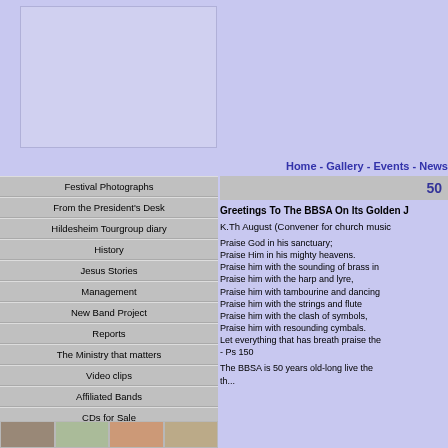[Figure (other): Advertisement or image placeholder, light lavender/grey rectangle]
Home - Gallery - Events - News
Festival Photographs
From the President's Desk
Hildesheim Tourgroup diary
History
Jesus Stories
Management
New Band Project
Reports
The Ministry that matters
Video clips
Affiliated Bands
CDs for Sale
50
Greetings To The BBSA On Its Golden J
K.Th August (Convener for church music
Praise God in his sanctuary;
Praise Him in his mighty heavens.
Praise him with the sounding of brass in
Praise him with the harp and lyre,
Praise him with tambourine and dancing
Praise him with the strings and flute
Praise him with the clash of symbols,
Praise him with resounding cymbals.
Let everything that has breath praise the
- Ps 150
The BBSA is 50 years old-long live the th...